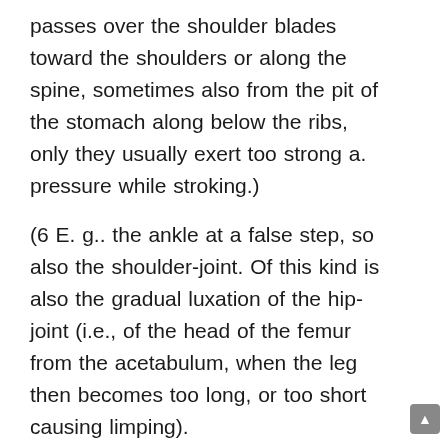passes over the shoulder blades toward the shoulders or along the spine, sometimes also from the pit of the stomach along below the ribs, only they usually exert too strong a. pressure while stroking.)
(6 E. g.. the ankle at a false step, so also the shoulder-joint. Of this kind is also the gradual luxation of the hip-joint (i.e., of the head of the femur from the acetabulum, when the leg then becomes too long, or too short causing limping).